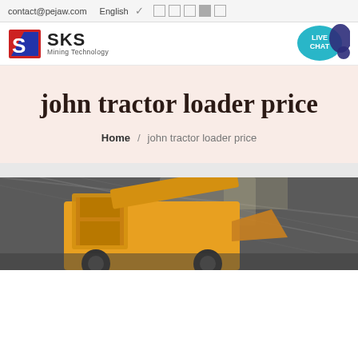contact@pejaw.com  English  [icons]
[Figure (logo): SKS Mining Technology logo with red/blue geometric icon and brand name]
[Figure (other): Live Chat speech bubble icon in teal/blue with chat bubble graphic]
john tractor loader price
Home / john tractor loader price
[Figure (photo): Industrial warehouse photo showing yellow construction loader/tractor equipment inside a large steel-roofed building]